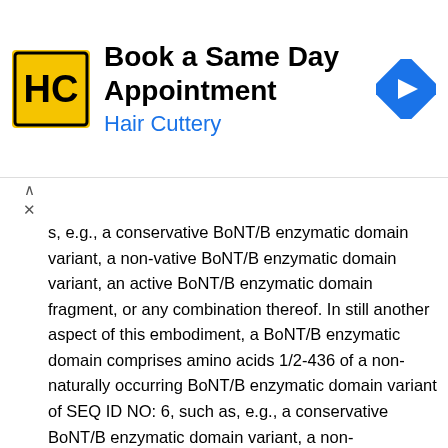[Figure (other): Hair Cuttery advertisement banner reading 'Book a Same Day Appointment / Hair Cuttery' with logo and directional arrow icon]
s, e.g., a conservative BoNT/B enzymatic domain variant, a non-vative BoNT/B enzymatic domain variant, an active BoNT/B enzymatic domain fragment, or any combination thereof. In still another aspect of this embodiment, a BoNT/B enzymatic domain comprises amino acids 1/2-436 of a non-naturally occurring BoNT/B enzymatic domain variant of SEQ ID NO: 6, such as, e.g., a conservative BoNT/B enzymatic domain variant, a non-conservative BoNT/B enzymatic domain variant, an active BoNT/B enzymatic domain fragment, or any combination thereof.
In other aspects of this embodiment, a BoNT/B enzymatic domain comprises a polypeptide having an amino acid identity of, e.g., at least 70%, at least 75%, at least 80%, at least 85%, at least 90%, or at least 95% to the enzymatic domain of SEQ ID NO: 6, SEQ ID NO: 7, SEQ ID NO: 8, SEQ ID NO: 9, or SEQ ID NO: 10; or at most 70%, at most 75%, at most 80%, at most 85%, at most 90%, or at most 95% to the enzymatic domain of SEQ ID NO: 6, SEQ ID NO: 7, SEQ ID NO: 8, SEQ ID NO: 9, or SEQ ID NO: 10. In yet other aspects of this embodiment, a BoNT/B enzymatic domain comprises a polypeptide having an amino acid identity of, e.g., at least 70%, at least 75%, at least 80%, at least 85%, at least 90%, or at least